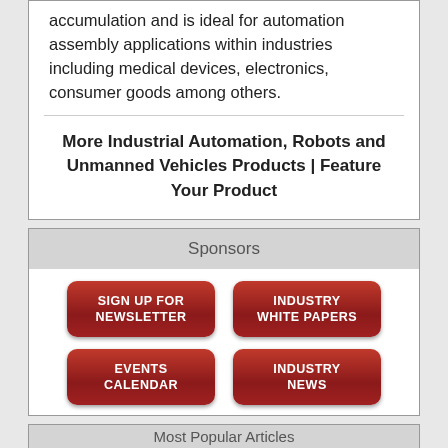accumulation and is ideal for automation assembly applications within industries including medical devices, electronics, consumer goods among others.
More Industrial Automation, Robots and Unmanned Vehicles Products | Feature Your Product
Sponsors
[Figure (infographic): Four red rounded-rectangle buttons: SIGN UP FOR NEWSLETTER, INDUSTRY WHITE PAPERS, EVENTS CALENDAR, INDUSTRY NEWS]
Most Popular Articles